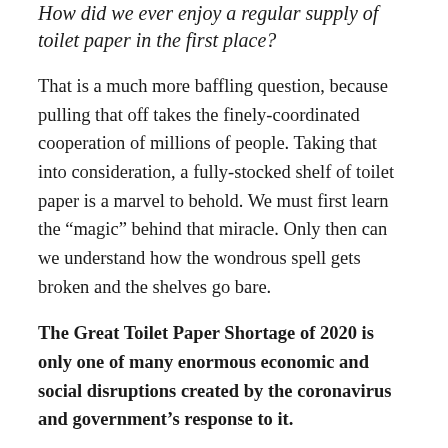How did we ever enjoy a regular supply of toilet paper in the first place?
That is a much more baffling question, because pulling that off takes the finely-coordinated cooperation of millions of people. Taking that into consideration, a fully-stocked shelf of toilet paper is a marvel to behold. We must first learn the “magic” behind that miracle. Only then can we understand how the wondrous spell gets broken and the shelves go bare.
The Great Toilet Paper Shortage of 2020 is only one of many enormous economic and social disruptions created by the coronavirus and government’s response to it.
If we are going to recover from this anytime soon, we need to work together. And that doesn’t mean following the orders and advice of central planners. It means cooperating with each other